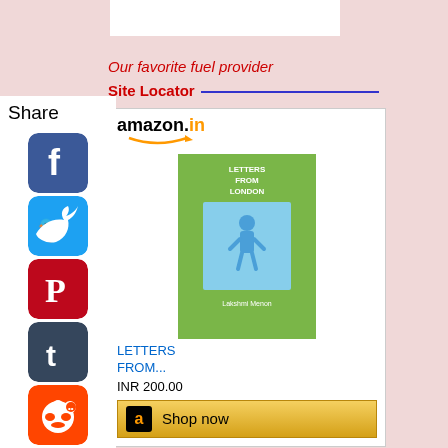[Figure (screenshot): White rectangle at top of page, partially visible]
Our favorite fuel provider
Site Locator ___________________________
[Figure (other): Share sidebar with Share label and social media icons: Facebook, Twitter, Pinterest, Tumblr, Reddit, WhatsApp]
[Figure (other): Amazon.in widget showing book 'Letters From London' with cover image, price INR 200.00, and Shop now button]